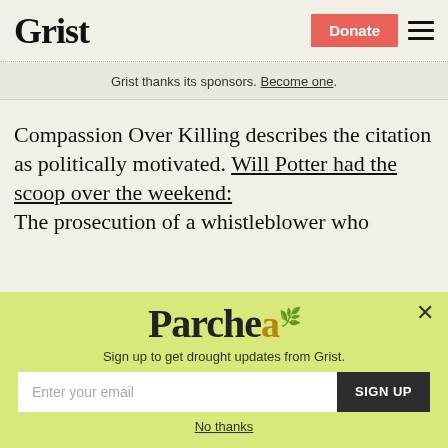Grist | Donate
Grist thanks its sponsors. Become one.
Compassion Over Killing describes the citation as politically motivated. Will Potter had the scoop over the weekend: The prosecution of a whistleblower who
[Figure (other): Parched newsletter signup modal overlay with logo, tagline 'Sign up to get drought updates from Grist.', email input field, SIGN UP button, and 'No thanks' link]
No thanks